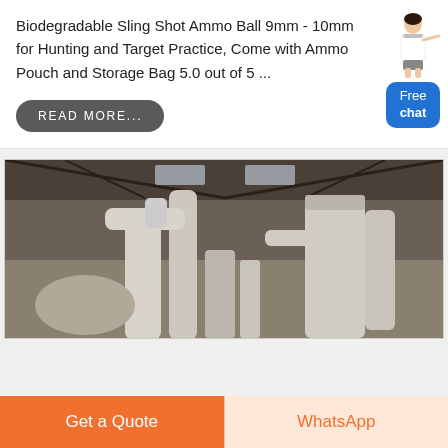Biodegradable Sling Shot Ammo Ball 9mm - 10mm for Hunting and Target Practice, Come with Ammo Pouch and Storage Bag 5.0 out of 5 ...
READ MORE...
[Figure (illustration): Free chat widget with a standing female figure and blue 'Free chat' button]
[Figure (photo): Interior of an industrial factory/warehouse with large white cylindrical ducts and machinery, metal roof structure visible]
Get a Quote
WhatsApp